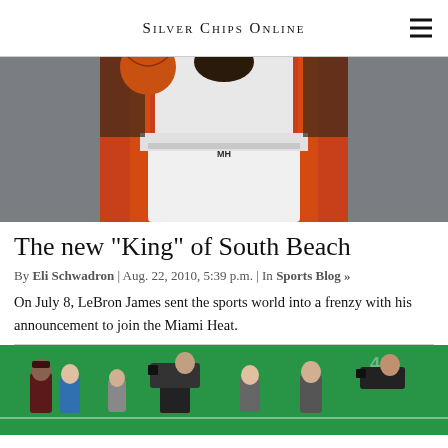Silver Chips Online
[Figure (photo): Basketball player in Miami Heat white and orange uniform, torso visible, holding ball overhead]
The new "King" of South Beach
By Eli Schwadron | Aug. 22, 2010, 5:39 p.m. | In Sports Blog »
On July 8, LeBron James sent the sports world into a frenzy with his announcement to join the Miami Heat.
[Figure (photo): Football field scene with people including camera crew and individuals in various colored shirts on a green turf field]